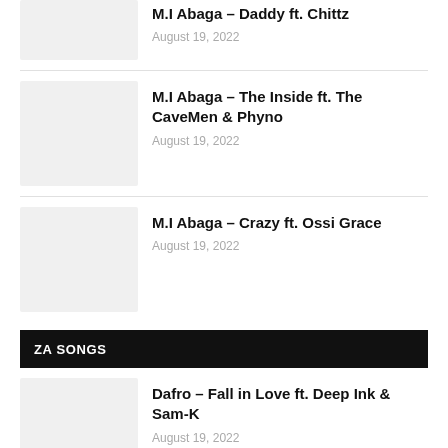[Figure (photo): Thumbnail image placeholder (partial, top of page)]
M.I Abaga – Daddy ft. Chittz
August 19, 2022
[Figure (photo): Thumbnail image placeholder]
M.I Abaga – The Inside ft. The CaveMen & Phyno
August 19, 2022
[Figure (photo): Thumbnail image placeholder]
M.I Abaga – Crazy ft. Ossi Grace
August 19, 2022
ZA SONGS
[Figure (photo): Thumbnail image placeholder]
Dafro – Fall in Love ft. Deep Ink & Sam-K
August 19, 2022